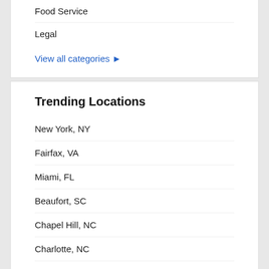Food Service
Legal
View all categories ▶
Trending Locations
New York, NY
Fairfax, VA
Miami, FL
Beaufort, SC
Chapel Hill, NC
Charlotte, NC
Cleveland, OH
Richmond, VA